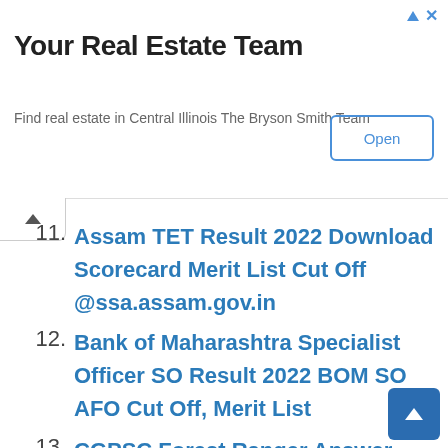[Figure (other): Advertisement banner: Your Real Estate Team - Find real estate in Central Illinois The Bryson Smith Team, with an Open button]
11. Assam TET Result 2022 Download Scorecard Merit List Cut Off @ssa.assam.gov.in
12. Bank of Maharashtra Specialist Officer SO Result 2022 BOM SO AFO Cut Off, Merit List
13. CGPSC Forest Ranger Answer Key 2022 Chhattisgarh ACF Answer key